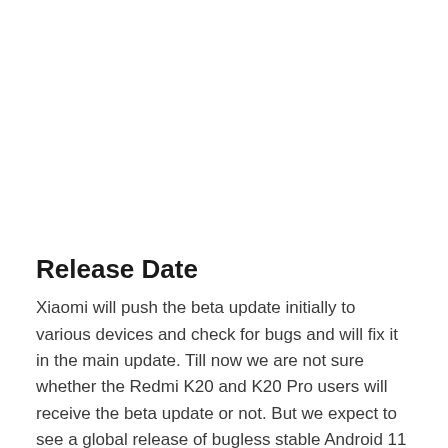Release Date
Xiaomi will push the beta update initially to various devices and check for bugs and will fix it in the main update. Till now we are not sure whether the Redmi K20 and K20 Pro users will receive the beta update or not. But we expect to see a global release of bugless stable Android 11 for K20 and K20 Pro between September 2020 and January 2021. At present, Xiaomi